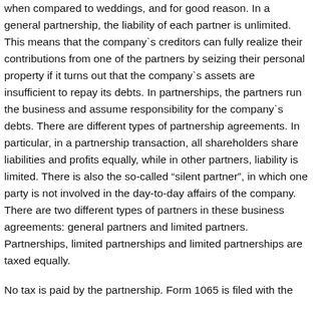when compared to weddings, and for good reason. In a general partnership, the liability of each partner is unlimited. This means that the company`s creditors can fully realize their contributions from one of the partners by seizing their personal property if it turns out that the company`s assets are insufficient to repay its debts. In partnerships, the partners run the business and assume responsibility for the company`s debts. There are different types of partnership agreements. In particular, in a partnership transaction, all shareholders share liabilities and profits equally, while in other partners, liability is limited. There is also the so-called “silent partner”, in which one party is not involved in the day-to-day affairs of the company. There are two different types of partners in these business agreements: general partners and limited partners. Partnerships, limited partnerships and limited partnerships are taxed equally.
No tax is paid by the partnership. Form 1065 is filed with the